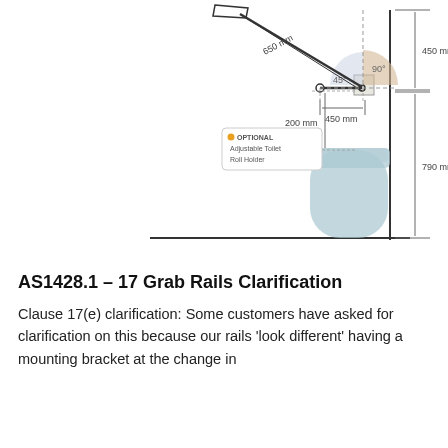[Figure (engineering-diagram): Technical engineering diagram showing grab rail placement for accessible toilet. Shows a horizontal grab rail (450mm) mounted at 90 degrees and a diagonal rail at 45 degrees (650mm). Toilet is shown in light blue/grey. Dimensions shown: 450mm horizontal, 200mm vertical, 790mm wall height, 450mm top. Optional Adjustable Toilet Roll Holder callout box shown.]
AS1428.1 – 17 Grab Rails Clarification
Clause 17(e) clarification: Some customers have asked for clarification on this because our rails 'look different' having a mounting bracket at the change in